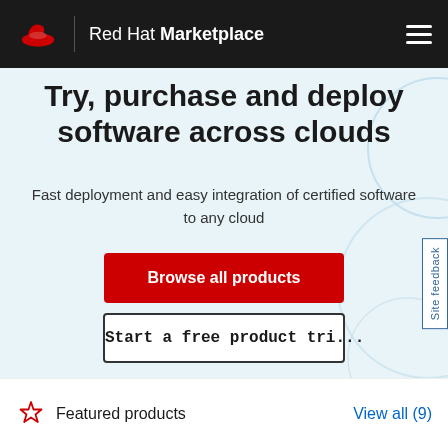Red Hat Marketplace
Try, purchase and deploy software across clouds
Fast deployment and easy integration of certified software to any cloud
Browse all products
Start a free product tri...
Site feedback
Featured products
View all (9)